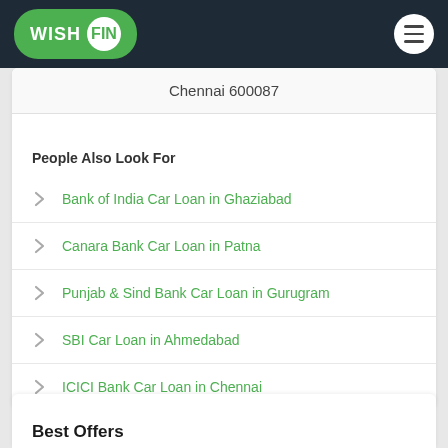WishFin
Chennai 600087
People Also Look For
Bank of India Car Loan in Ghaziabad
Canara Bank Car Loan in Patna
Punjab & Sind Bank Car Loan in Gurugram
SBI Car Loan in Ahmedabad
ICICI Bank Car Loan in Chennai
Best Offers